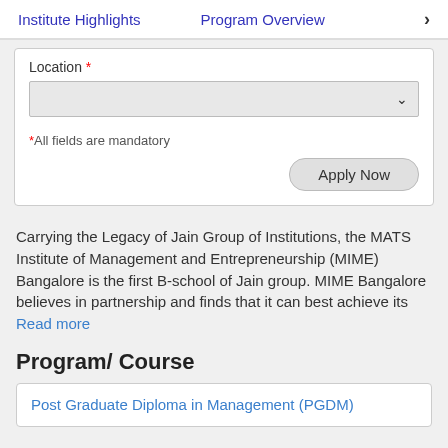Institute Highlights   Program Overview  >
Location *
*All fields are mandatory
Apply Now
Carrying the Legacy of Jain Group of Institutions, the MATS Institute of Management and Entrepreneurship (MIME) Bangalore is the first B-school of Jain group. MIME Bangalore believes in partnership and finds that it can best achieve its
Read more
Program/ Course
Post Graduate Diploma in Management (PGDM)